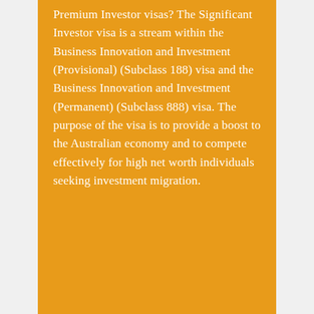Premium Investor visas? The Significant Investor visa is a stream within the Business Innovation and Investment (Provisional) (Subclass 188) visa and the Business Innovation and Investment (Permanent) (Subclass 888) visa. The purpose of the visa is to provide a boost to the Australian economy and to compete effectively for high net worth individuals seeking investment migration.